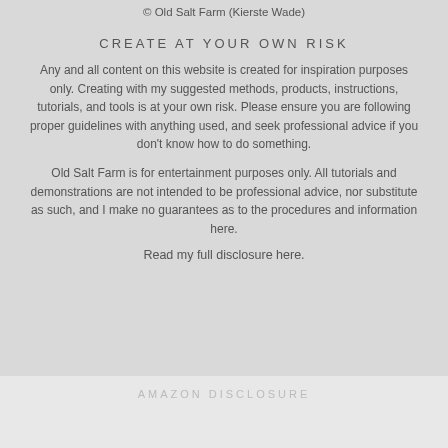© Old Salt Farm (Kierste Wade)
CREATE AT YOUR OWN RISK
Any and all content on this website is created for inspiration purposes only. Creating with my suggested methods, products, instructions, tutorials, and tools is at your own risk. Please ensure you are following proper guidelines with anything used, and seek professional advice if you don't know how to do something.
Old Salt Farm is for entertainment purposes only. All tutorials and demonstrations are not intended to be professional advice, nor substitute as such, and I make no guarantees as to the procedures and information here.
Read my full disclosure here.
AMAZON DISCLOSURE